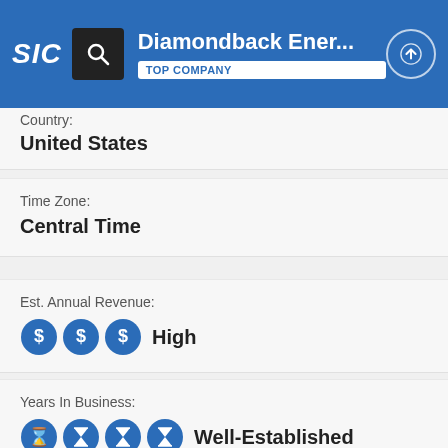Diamondback Ener... TOP COMPANY
Country: United States
Time Zone: Central Time
Est. Annual Revenue: High
Years In Business: Well-Established
Est. Company Size: